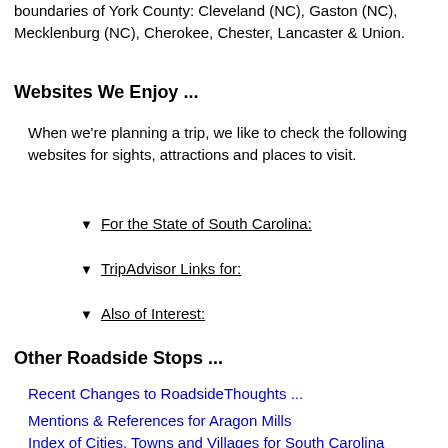boundaries of York County: Cleveland (NC), Gaston (NC), Mecklenburg (NC), Cherokee, Chester, Lancaster & Union.
Websites We Enjoy ...
When we're planning a trip, we like to check the following websites for sights, attractions and places to visit.
▼ For the State of South Carolina:
▼ TripAdvisor Links for:
▼ Also of Interest:
Other Roadside Stops ...
Recent Changes to RoadsideThoughts ...
Mentions & References for Aragon Mills
Index of Cities, Towns and Villages for South Carolina